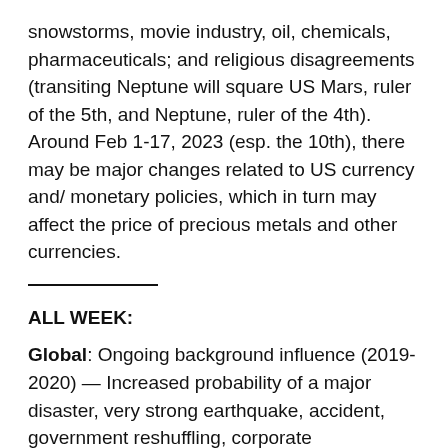snowstorms, movie industry, oil, chemicals, pharmaceuticals; and religious disagreements (transiting Neptune will square US Mars, ruler of the 5th, and Neptune, ruler of the 4th). Around Feb 1-17, 2023 (esp. the 10th), there may be major changes related to US currency and/ monetary policies, which in turn may affect the price of precious metals and other currencies.
ALL WEEK:
Global: Ongoing background influence (2019-2020) — Increased probability of a major disaster, very strong earthquake, accident, government reshuffling, corporate restructuring announcement, geopolitical changes, old/established governmental or corporate leaders